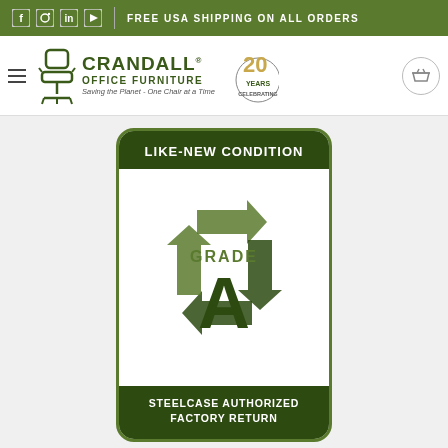FREE USA SHIPPING ON ALL ORDERS
[Figure (logo): Crandall Office Furniture logo with chair icon, 20 years celebrating badge, and shopping basket icon]
[Figure (infographic): Grade A - Like-New Condition - Steelcase Authorized Factory Return badge with recycling arrows and large letter A]